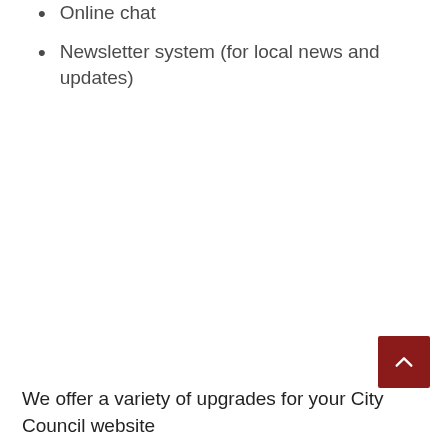Online chat
Newsletter system (for local news and updates)
We offer a variety of upgrades for your City Council website